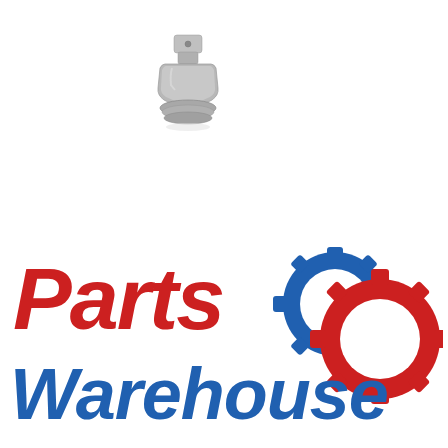[Figure (photo): A small metallic silver/gray socket adapter or pivot joint hardware part, photographed against a white background. The part appears to be a universal joint or square drive adapter made of cast metal.]
[Figure (logo): Parts Warehouse logo featuring bold red italic text 'Parts' on top and blue italic text 'Warehouse' below, with interlocking red and blue gear/cog icons overlapping on the right side.]